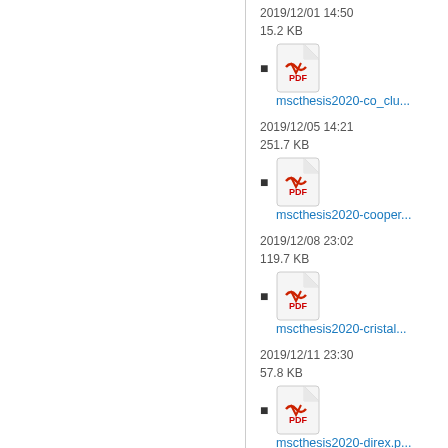2019/12/01 14:50
15.2 KB
mscthesis2020-co_clu...
2019/12/05 14:21
251.7 KB
mscthesis2020-cooper...
2019/12/08 23:02
119.7 KB
mscthesis2020-cristal...
2019/12/11 23:30
57.8 KB
mscthesis2020-direx.p...
2019/12/27 16:35
501.1 KB